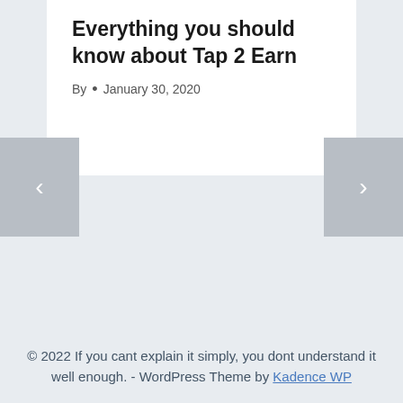Everything you should know about Tap 2 Earn
By  •  January 30, 2020
© 2022 If you cant explain it simply, you dont understand it well enough. - WordPress Theme by Kadence WP